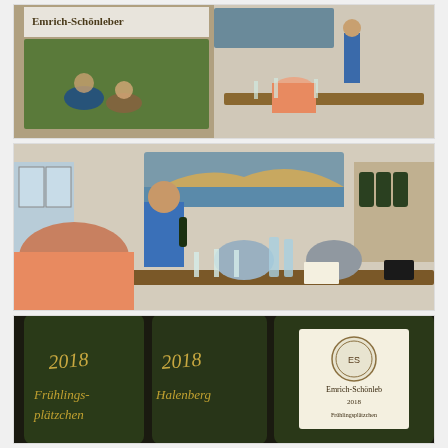[Figure (photo): Interior winery tasting room scene with Emrich-Schönleber banner. A young man in a blue shirt crouches in a vineyard shown on the banner backdrop. Several visitors sit around a wooden table for a wine presentation.]
[Figure (photo): Wine tasting event at Emrich-Schönleber. A young man in a blue t-shirt stands presenting a bottle of wine to visitors seated around a table. A large landscape photograph of vineyards hangs on the wall behind him.]
[Figure (photo): Close-up of dark green wine bottles with gold script text showing '2018 Frühlingsplätzchen' and '2018 Halenberg'. A third bottle shows an Emrich-Schönleber label.]